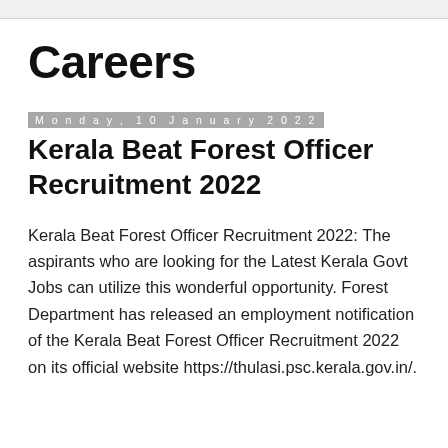Careers
Monday, 10 January 2022
Kerala Beat Forest Officer Recruitment 2022
Kerala Beat Forest Officer Recruitment 2022: The aspirants who are looking for the Latest Kerala Govt Jobs can utilize this wonderful opportunity. Forest Department has released an employment notification of the Kerala Beat Forest Officer Recruitment 2022 on its official website https://thulasi.psc.kerala.gov.in/.